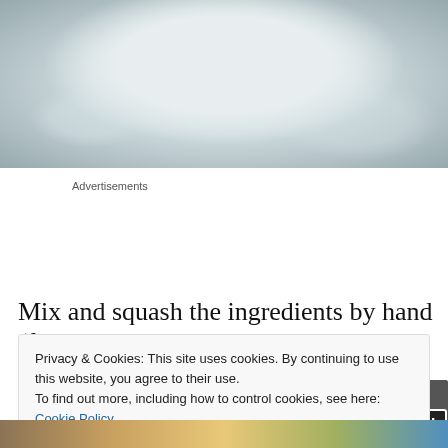[Figure (photo): Close-up photo of white dough or flour mixture in a bowl, viewed from above, with a pale blue-grey background visible at edges]
Advertisements
[Figure (screenshot): Advertisement banner for WordPress Hosting with text 'WORDPRESS HOSTING THAT MEANS BUSINESS.' and an OPEN sign image on the right]
Mix and squash the ingredients by hand (for at least 5
Privacy & Cookies: This site uses cookies. By continuing to use this website, you agree to their use.
To find out more, including how to control cookies, see here: Cookie Policy
[Figure (photo): Partial photo at bottom of page showing colorful ingredients]